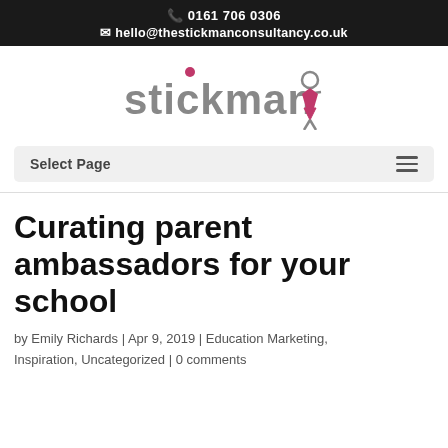📞 0161 706 0306
✉ hello@thestickmanconsultancy.co.uk
[Figure (logo): Stickman consultancy logo with stylized 'stickman' text in grey and a small stick figure illustration in pink/magenta]
Select Page
Curating parent ambassadors for your school
by Emily Richards | Apr 9, 2019 | Education Marketing, Inspiration, Uncategorized | 0 comments